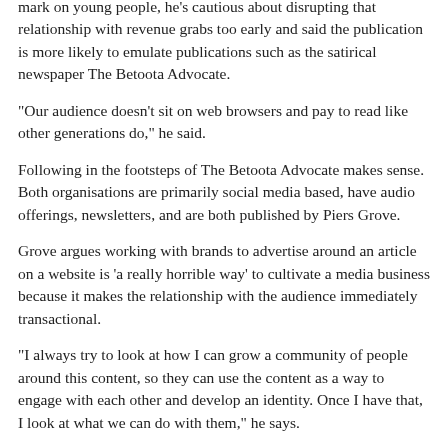mark on young people, he's cautious about disrupting that relationship with revenue grabs too early and said the publication is more likely to emulate publications such as the satirical newspaper The Betoota Advocate.
"Our audience doesn't sit on web browsers and pay to read like other generations do," he said.
Following in the footsteps of The Betoota Advocate makes sense. Both organisations are primarily social media based, have audio offerings, newsletters, and are both published by Piers Grove.
Grove argues working with brands to advertise around an article on a website is 'a really horrible way' to cultivate a media business because it makes the relationship with the audience immediately transactional.
"I always try to look at how I can grow a community of people around this content, so they can use the content as a way to engage with each other and develop an identity. Once I have that, I look at what we can do with them," he says.